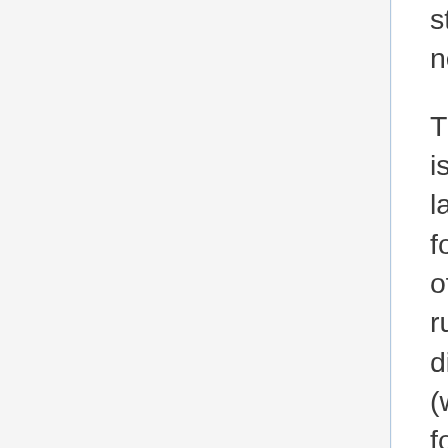study showed a link to early bone damage in new barefoot runners.
The structure of the human foot and lower leg is very efficient at absorbing the shock of landing and turning the energy of the fall into forward motion, through the springing action of the foot's natural arch. Scientists studying runners' foot motions have observed striking differences between habitually shod runners (wearing shoes) and barefoot runners. The foot of habitually shod runners typically lands with an initial heel strike, while the foot of a barefoot runner lands with a more springy step on the middle, or on the ball of the foot. In addition, the strike is shorter in duration and the step rate is higher. When looking at the muscle activity